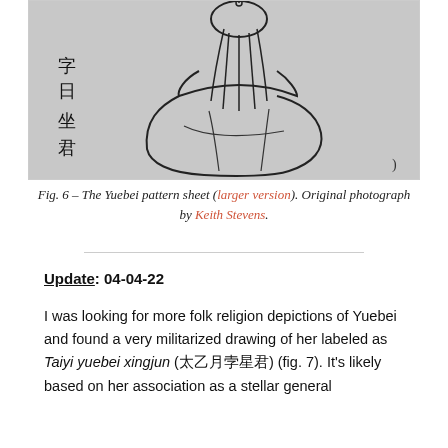[Figure (illustration): A line drawing on aged paper depicting a figure (Yuebei) viewed from behind, seated or in a flowing robe. Chinese characters appear on the left side of the image.]
Fig. 6 – The Yuebei pattern sheet (larger version). Original photograph by Keith Stevens.
Update: 04-04-22
I was looking for more folk religion depictions of Yuebei and found a very militarized drawing of her labeled as Taiyi yuebei xingjun (太乙月孛星君) (fig. 7). It's likely based on her association as a stellar general